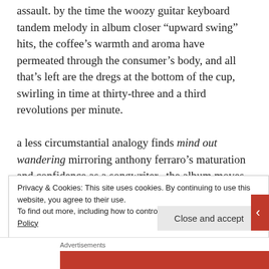assault. by the time the woozy guitar keyboard tandem melody in album closer “upward swing” hits, the coffee’s warmth and aroma have permeated through the consumer’s body, and all that’s left are the dregs at the bottom of the cup, swirling in time at thirty-three and a third revolutions per minute.

a less circumstantial analogy finds mind out wandering mirroring anthony ferraro’s maturation and confidence as a songwriter.  the album moves
Privacy & Cookies: This site uses cookies. By continuing to use this website, you agree to their use.
To find out more, including how to control cookies, see here: Cookie Policy
Close and accept
Advertisements